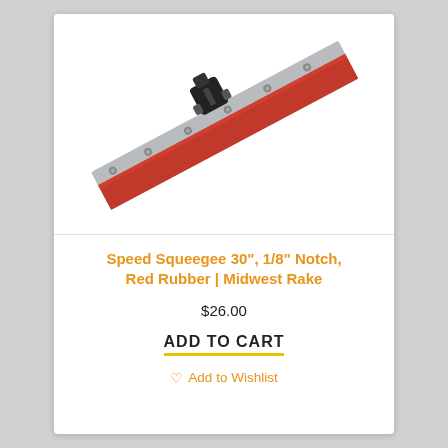[Figure (photo): A floor squeegee with red rubber blade, silver/grey metal frame with bolts, and a black handle bracket attachment at the top center. The squeegee is shown at a diagonal angle.]
Speed Squeegee 30", 1/8" Notch, Red Rubber | Midwest Rake
$26.00
ADD TO CART
Add to Wishlist